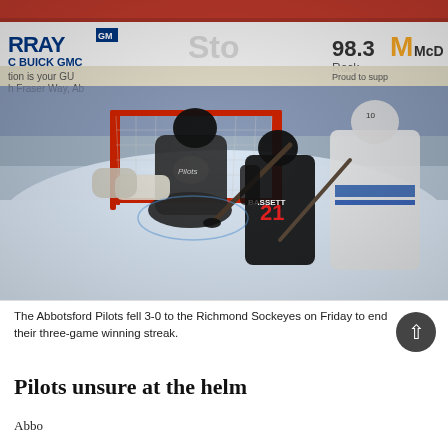[Figure (photo): Hockey game photo showing the Abbotsford Pilots goalie making a save attempt against players wearing number 21 (Richmond Sockeyes) in front of the net. Arena boards visible in background with advertisements including Murray Buick GMC, 98.3 The Rock, and McDonald's.]
The Abbotsford Pilots fell 3-0 to the Richmond Sockeyes on Friday to end their three-game winning streak.
Pilots unsure at the helm
Abbo...